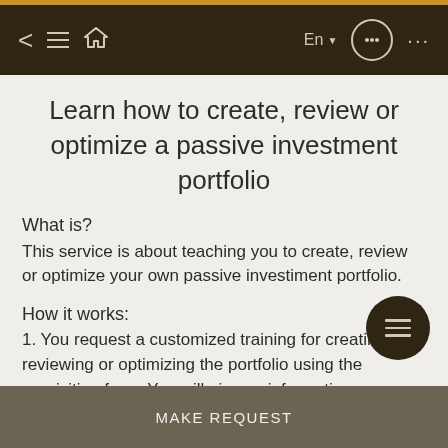Learn how to create, review or optimize a passive investment portfolio
Learn how to create, review or optimize a passive investment portfolio
What is?
This service is about teaching you to create, review or optimize your own passive investiment portfolio.
How it works:
1. You request a customized training for creating, reviewing or optimizing the portfolio using the requisition form. You will give us information reg... your objectives and investor profile. At the same time